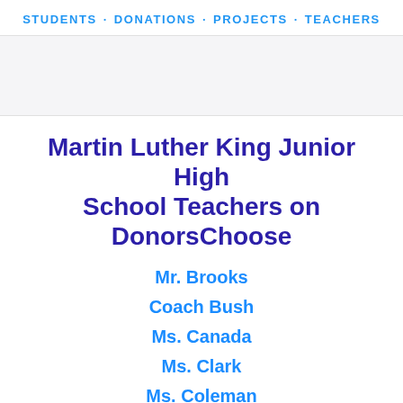STUDENTS · DONATIONS · PROJECTS · TEACHERS
Martin Luther King Junior High School Teachers on DonorsChoose
Mr. Brooks
Coach Bush
Ms. Canada
Ms. Clark
Ms. Coleman
Ms. D.
Ms. Edwards (partial)